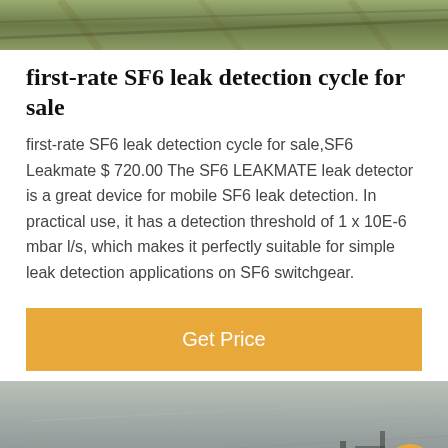[Figure (photo): Top aerial/outdoor photo showing rails or structural elements in green/brown tones]
first-rate SF6 leak detection cycle for sale
first-rate SF6 leak detection cycle for sale,SF6 Leakmate $ 720.00 The SF6 LEAKMATE leak detector is a great device for mobile SF6 leak detection. In practical use, it has a detection threshold of 1 x 10E-6 mbar l/s, which makes it perfectly suitable for simple leak detection applications on SF6 switchgear.
[Figure (other): Orange 'Get Price' button]
[Figure (photo): Bottom photo showing electrical switchgear/substation equipment in black and white tones, with a dark footer bar containing 'Leave Message' and 'Chat Online' buttons and a customer service avatar in the center]